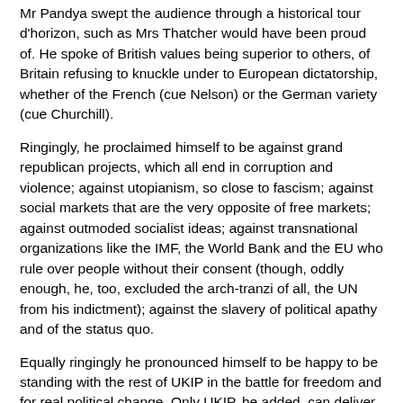Mr Pandya swept the audience through a historical tour d'horizon, such as Mrs Thatcher would have been proud of. He spoke of British values being superior to others, of Britain refusing to knuckle under to European dictatorship, whether of the French (cue Nelson) or the German variety (cue Churchill).
Ringingly, he proclaimed himself to be against grand republican projects, which all end in corruption and violence; against utopianism, so close to fascism; against social markets that are the very opposite of free markets; against outmoded socialist ideas; against transnational organizations like the IMF, the World Bank and the EU who rule over people without their consent (though, oddly enough, he, too, excluded the arch-tranzi of all, the UN from his indictment); against the slavery of political apathy and of the status quo.
Equally ringingly he pronounced himself to be happy to be standing with the rest of UKIP in the battle for freedom and for real political change. Only UKIP, he added, can deliver them. He was proud to be on the road to freedom. Needless to say, he got a standing ovation.